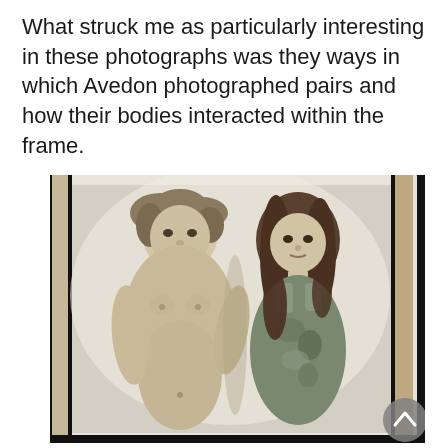What struck me as particularly interesting in these photographs was they ways in which Avedon photographed pairs and how their bodies interacted within the frame.
[Figure (photo): A black-and-white photograph from a book showing a shirtless young man with curly hair standing next to a young woman with shoulder-length hair wearing a patterned top. They are standing side by side and looking at the camera. The photo appears to be a page in a photography book.]